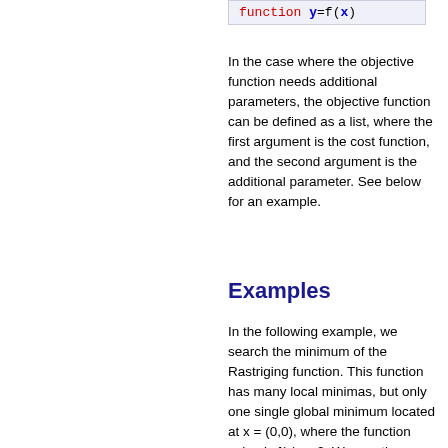[Figure (other): Code box showing 'function y=f(x)' with red keyword and blue bold variable]
In the case where the objective function needs additional parameters, the objective function can be defined as a list, where the first argument is the cost function, and the second argument is the additional parameter. See below for an example.
Examples
In the following example, we search the minimum of the Rastriging function. This function has many local minimas, but only one single global minimum located at x = (0,0), where the function value is f(x) = -2. We use the simulated annealing algorithm with